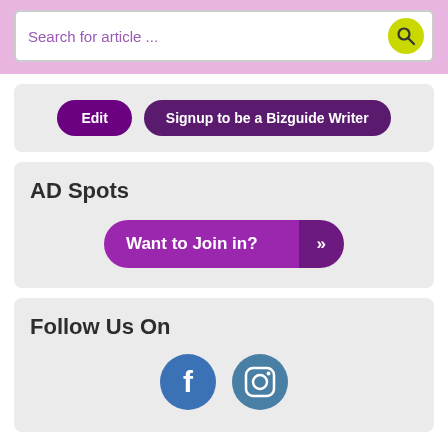Search for article ...
Edit | Signup to be a Bizguide Writer
AD Spots
Want to Join in?
Follow Us On
[Figure (infographic): Facebook and Instagram social media icons]